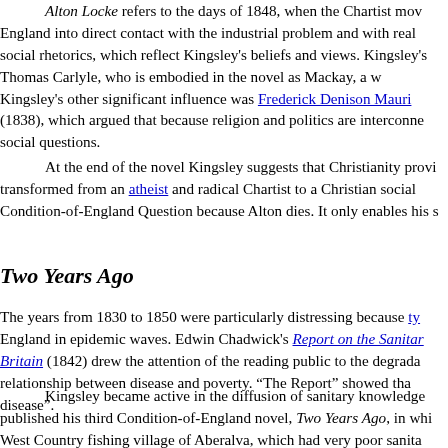Alton Locke refers to the days of 1848, when the Chartist movement brought England into direct contact with the industrial problem and with real social rhetorics, which reflect Kingsley's beliefs and views. Kingsley's Thomas Carlyle, who is embodied in the novel as Mackay, a w... Kingsley's other significant influence was Frederick Denison Mauri... (1838), which argued that because religion and politics are interconne... social questions.
At the end of the novel Kingsley suggests that Christianity provi... transformed from an atheist and radical Chartist to a Christian social... Condition-of-England Question because Alton dies. It only enables his s...
Two Years Ago
The years from 1830 to 1850 were particularly distressing because ty... England in epidemic waves. Edwin Chadwick's Report on the Sanitar... Britain (1842) drew the attention of the reading public to the degrada... relationship between disease and poverty. “The Report” showed tha... disease”.
Kingsley became active in the diffusion of sanitary knowledge published his third Condition-of-England novel, Two Years Ago, in whi... West Country fishing village of Aberalva, which had very poor sanita... which left the locality unassisted by the central government durin... commitment of the inhabitants. The title refers to two significant event... War. The main hero of the novel, Tom Thurnall represents Kingsley's... cleanliness, personal hygiene, sport and physical fitness as the function...